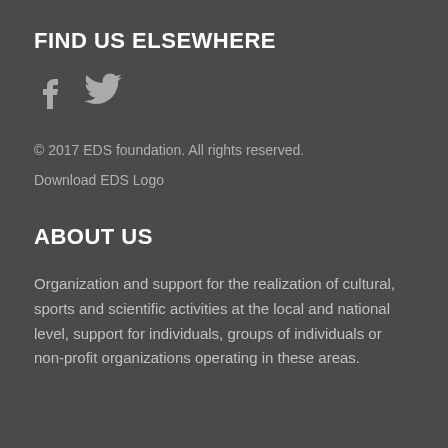FIND US ELSEWHERE
[Figure (illustration): Facebook and Twitter social media icons in gray]
© 2017 EDS foundation. All rights reserved.
Download EDS Logo
ABOUT US
Organization and support for the realization of cultural, sports and scientific activities at the local and national level, support for individuals, groups of individuals or non-profit organizations operating in these areas.